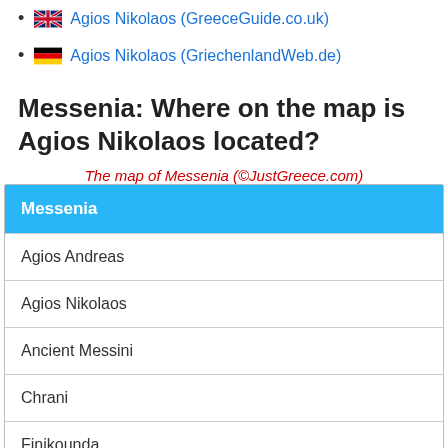Agios Nikolaos (GreeceGuide.co.uk)
Agios Nikolaos (GriechenlandWeb.de)
Messenia: Where on the map is Agios Nikolaos located?
The map of Messenia (©JustGreece.com)
| Messenia |
| --- |
| Agios Andreas |
| Agios Nikolaos |
| Ancient Messini |
| Chrani |
| Finikounda |